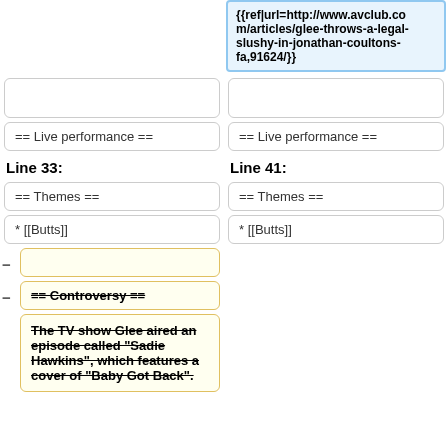{{ref|url=http://www.avclub.com/articles/glee-throws-a-legal-slushy-in-jonathan-coultons-fa,91624/}}
== Live performance ==
== Live performance ==
Line 33:
Line 41:
== Themes ==
== Themes ==
* [[Butts]]
* [[Butts]]
== Controversy ==
The TV show Glee aired an episode called "Sadie Hawkins", which features a cover of "Baby Got Back".